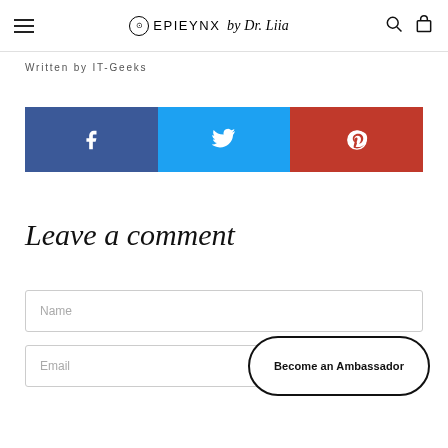EPIEYNX by Dr. Liia
Written by IT-Geeks
[Figure (other): Social share bar with Facebook (blue), Twitter (cyan), Pinterest (red) buttons with icons]
Leave a comment
Name
Email
Become an Ambassador